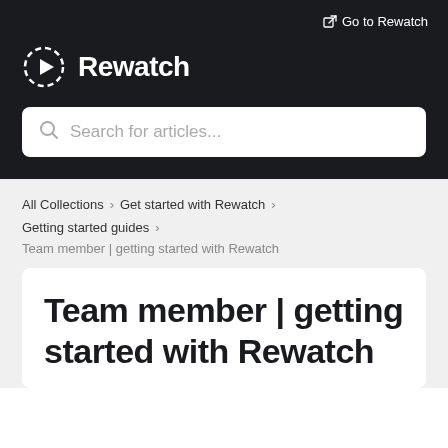Go to Rewatch
Rewatch
Search for articles...
All Collections > Get started with Rewatch > Getting started guides >
Team member | getting started with Rewatch
Team member | getting started with Rewatch